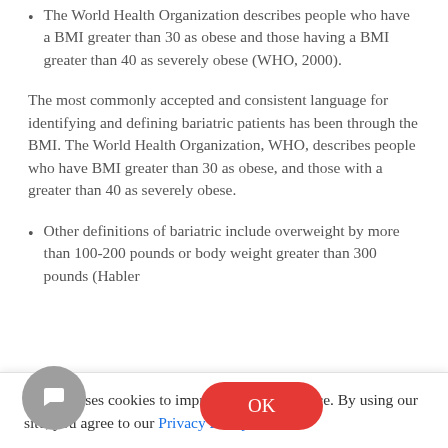The World Health Organization describes people who have a BMI greater than 30 as obese and those having a BMI greater than 40 as severely obese (WHO, 2000).
The most commonly accepted and consistent language for identifying and defining bariatric patients has been through the BMI. The World Health Organization, WHO, describes people who have BMI greater than 30 as obese, and those with a greater than 40 as severely obese.
Other definitions of bariatric include overweight by more than 100-200 pounds or body weight greater than 300 pounds (Habler...
Our site uses cookies to improve your experience. By using our site, you agree to our Privacy Policy.